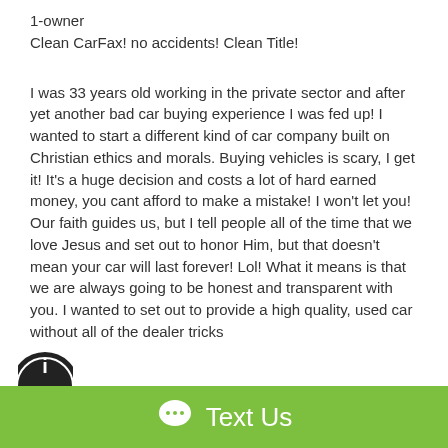1-owner
Clean CarFax! no accidents! Clean Title!
I was 33 years old working in the private sector and after yet another bad car buying experience I was fed up! I wanted to start a different kind of car company built on Christian ethics and morals. Buying vehicles is scary, I get it! It's a huge decision and costs a lot of hard earned money, you cant afford to make a mistake! I won't let you! Our faith guides us, but I tell people all of the time that we love Jesus and set out to honor Him, but that doesn't mean your car will last forever! Lol! What it means is that we are always going to be honest and transparent with you. I wanted to set out to provide a high quality, used car without all of the dealer tricks
[Figure (logo): Circular logo partially visible at bottom left corner]
Text Us